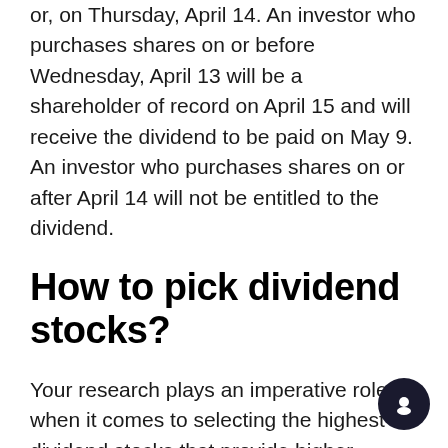or, on Thursday, April 14. An investor who purchases shares on or before Wednesday, April 13 will be a shareholder of record on April 15 and will receive the dividend to be paid on May 9. An investor who purchases shares on or after April 14 will not be entitled to the dividend.
How to pick dividend stocks?
Your research plays an imperative role when it comes to selecting the highest dividend stocks that provide higher dividend yield to you. Browse through some authentic stock investing websites